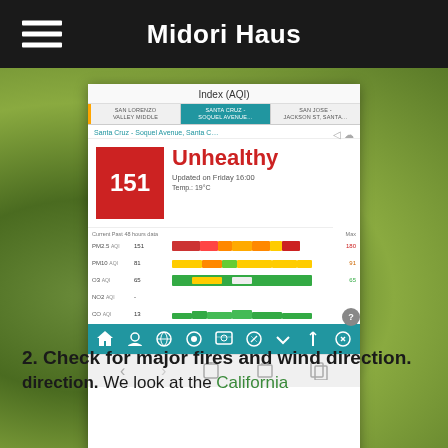Midori Haus
[Figure (screenshot): Screenshot of AQI (Air Quality Index) app showing Santa Cruz - Soquel Avenue station with AQI value of 151 labeled Unhealthy, updated Friday 16:00, Temp 19°C. Shows PM2.5 AQI 151 (max 180), PM10 AQI 81 (max 91), O3 AQI 65 (max 65), NO2 AQI -, CO AQI 13. Location tabs: San Lorenzo Valley Middle, Santa Cruz - Soquel Avenue (selected), San Jose - Jackson St.]
2. Check for major fires and wind direction.
We look at the California